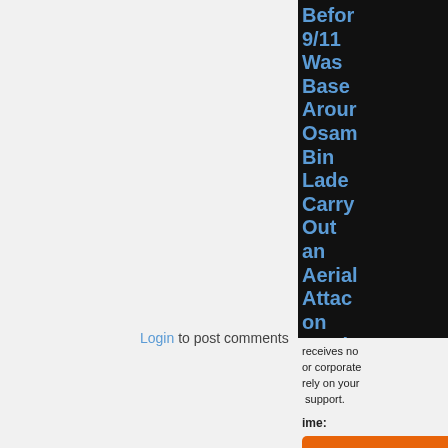Login to post comments
Before 9/11 Was Based Around Osama Bin Laden Carry Out an Aerial Attack on Wash
receives no or corporate rely on your support.
ime:
Donate
hly: